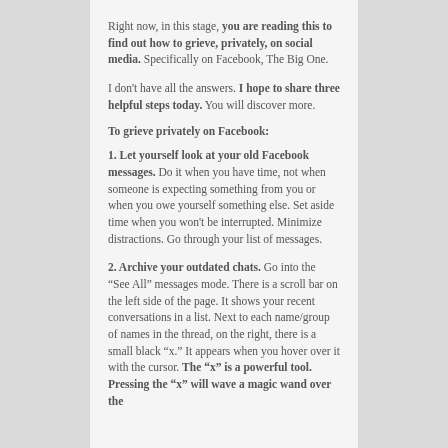Right now, in this stage, you are reading this to find out how to grieve, privately, on social media. Specifically on Facebook, The Big One.
I don't have all the answers. I hope to share three helpful steps today. You will discover more.
To grieve privately on Facebook:
1. Let yourself look at your old Facebook messages. Do it when you have time, not when someone is expecting something from you or when you owe yourself something else. Set aside time when you won't be interrupted. Minimize distractions. Go through your list of messages.
2. Archive your outdated chats. Go into the “See All” messages mode. There is a scroll bar on the left side of the page. It shows your recent conversations in a list. Next to each name/group of names in the thread, on the right, there is a small black “x.” It appears when you hover over it with the cursor. The “x” is a powerful tool. Pressing the “x” will wave a magic wand over the